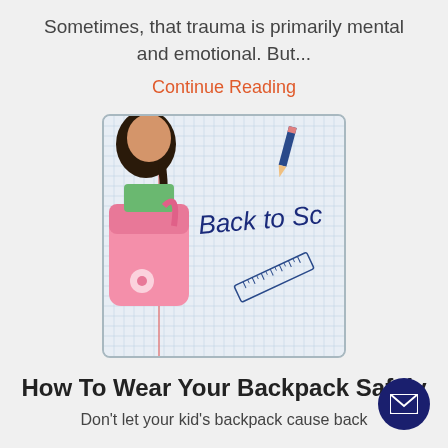Sometimes, that trauma is primarily mental and emotional. But...
Continue Reading
[Figure (photo): A young girl wearing a pink backpack viewed from behind, next to a notebook paper with 'Back to Sc[hool]' written on it and a ruler drawing.]
How To Wear Your Backpack Safely
Don't let your kid's backpack cause back